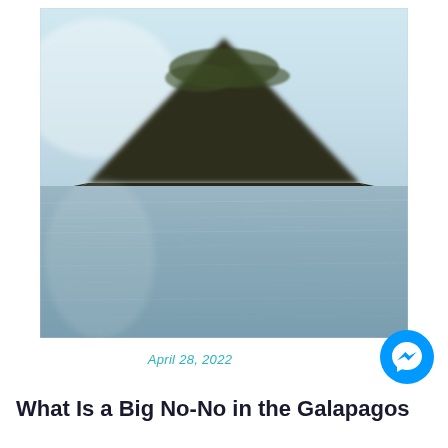[Figure (photo): Aerial or boat-level photograph of a large volcanic cone island rising steeply from calm blue-grey ocean water, with a clear sky in the background. The island is dark and cone-shaped with sparse green vegetation near its peak. The foreground is dominated by the flat, rippling water surface.]
April 28, 2022
What Is a Big No-No in the Galapagos